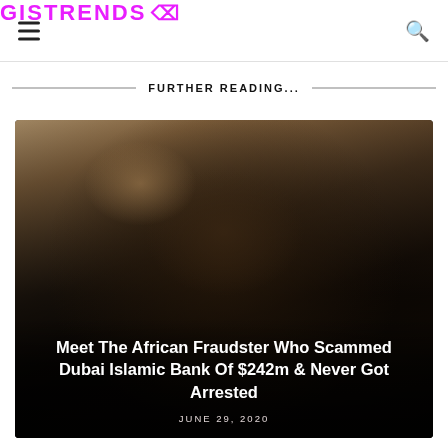GISTRENDS
FURTHER READING...
[Figure (photo): Portrait photo of an African man in a suit, used as article thumbnail for a story about an African fraudster who scammed Dubai Islamic Bank]
Meet The African Fraudster Who Scammed Dubai Islamic Bank Of $242m & Never Got Arrested
JUNE 29, 2020